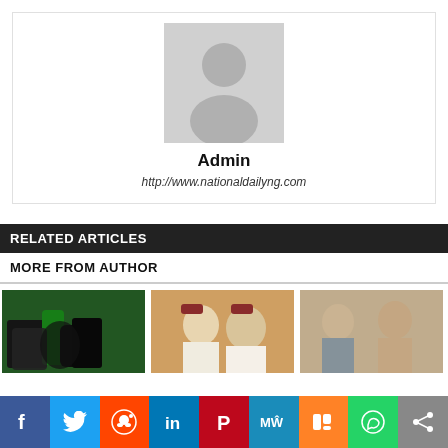[Figure (photo): Generic user avatar placeholder icon — grey silhouette of a person on light grey background]
Admin
http://www.nationaldailyng.com
RELATED ARTICLES
MORE FROM AUTHOR
[Figure (photo): Photo of a hand holding a green fuel nozzle at a gas station]
[Figure (photo): Photo of two men in white traditional attire with striped caps]
[Figure (photo): Photo of two men in a discussion, one in grey suit]
[Figure (infographic): Social media sharing buttons bar: Facebook, Twitter, Reddit, LinkedIn, Pinterest, MeWe, Mix, WhatsApp, Share]